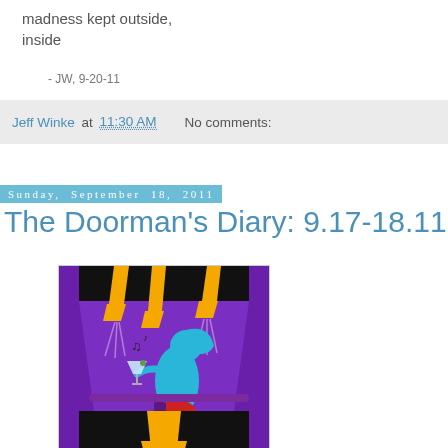madness kept outside,
inside
- JW, 9-20-11
Jeff Winke at 11:30 AM    No comments:
Sunday, September 18, 2011
The Doorman's Diary: 9.17-18.11
[Figure (illustration): Retro-style illustration of a stylized blue female figure holding a martini glass, seated at a bar, with purple background, musical notes, and hanging pendant lights in yellow/orange tones. Art deco / lounge aesthetic.]